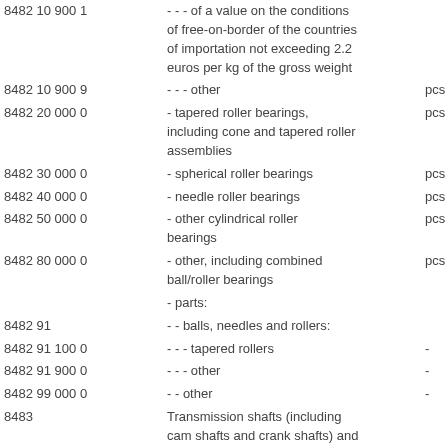| Code | Description | Unit |
| --- | --- | --- |
| 8482 10 900 1 | - - - of a value on the conditions of free-on-border of the countries of importation not exceeding 2.2 euros per kg of the gross weight |  |
| 8482 10 900 9 | - - - other | pcs |
| 8482 20 000 0 | - tapered roller bearings, including cone and tapered roller assemblies | pcs |
| 8482 30 000 0 | - spherical roller bearings | pcs |
| 8482 40 000 0 | - needle roller bearings | pcs |
| 8482 50 000 0 | - other cylindrical roller bearings | pcs |
| 8482 80 000 0 | - other, including combined ball/roller bearings | pcs |
|  | - parts: |  |
| 8482 91 | - - balls, needles and rollers: |  |
| 8482 91 100 0 | - - - tapered rollers | - |
| 8482 91 900 0 | - - - other | - |
| 8482 99 000 0 | - - other | - |
| 8483 | Transmission shafts (including cam shafts and crank shafts) and cranks; bearing housings and |  |